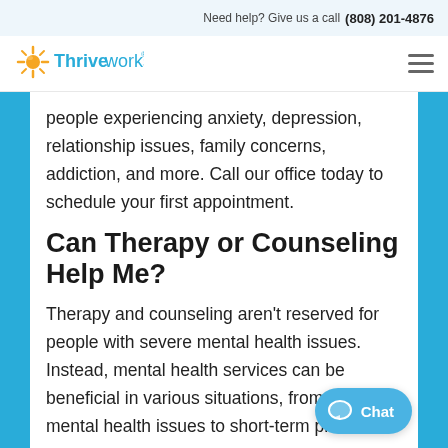Need help? Give us a call (808) 201-4876
[Figure (logo): Thriveworks logo with sun/rays icon and brand name]
people experiencing anxiety, depression, relationship issues, family concerns, addiction, and more. Call our office today to schedule your first appointment.
Can Therapy or Counseling Help Me?
Therapy and counseling aren't reserved for people with severe mental health issues. Instead, mental health services can be beneficial in various situations, from long mental health issues to short-term problems